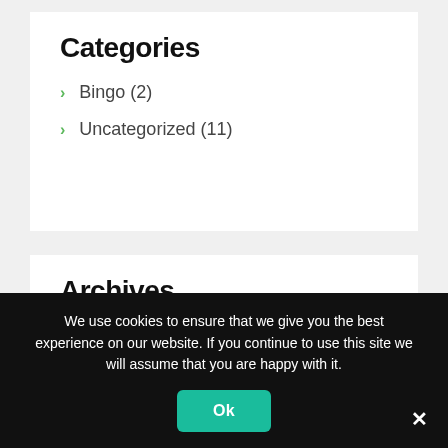Categories
Bingo (2)
Uncategorized (11)
Archives
We use cookies to ensure that we give you the best experience on our website. If you continue to use this site we will assume that you are happy with it.